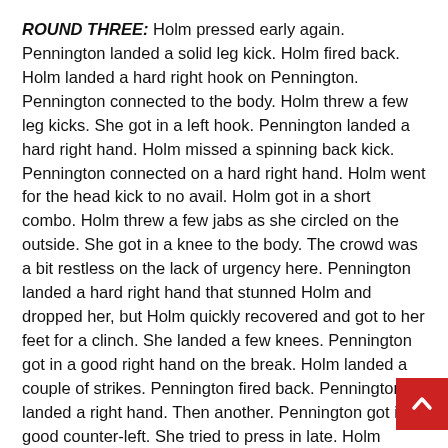ROUND THREE: Holm pressed early again. Pennington landed a solid leg kick. Holm fired back. Holm landed a hard right hook on Pennington. Pennington connected to the body. Holm threw a few leg kicks. She got in a left hook. Pennington landed a hard right hand. Holm missed a spinning back kick. Pennington connected on a hard right hand. Holm went for the head kick to no avail. Holm got in a short combo. Holm threw a few jabs as she circled on the outside. She got in a knee to the body. The crowd was a bit restless on the lack of urgency here. Pennington landed a hard right hand that stunned Holm and dropped her, but Holm quickly recovered and got to her feet for a clinch. She landed a few knees. Pennington got in a good right hand on the break. Holm landed a couple of strikes. Pennington fired back. Pennington landed a right hand. Then another. Pennington got in a good counter-left. She tried to press in late. Holm landed a couple of strikes. She blocked the head kick again. Holm landed a short combo. Pennington landed a short combo. They traded punches late before horn.